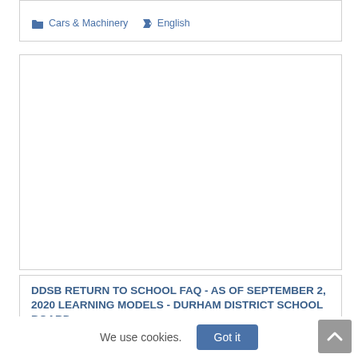Cars & Machinery · English
[Figure (other): Empty white card/box area]
DDSB RETURN TO SCHOOL FAQ - AS OF SEPTEMBER 2, 2020 LEARNING MODELS - DURHAM DISTRICT SCHOOL BOARD
Careers · English
We use cookies.